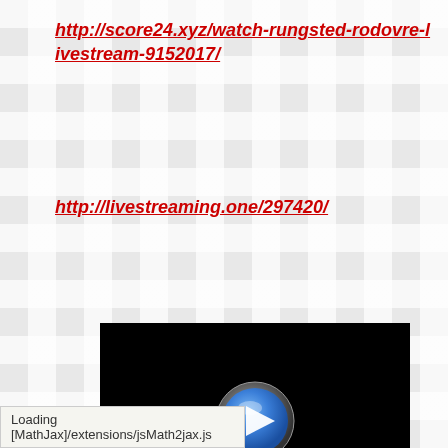http://score24.xyz/watch-rungsted-rodovre-livestream-9152017/
http://livestreaming.one/297420/
[Figure (screenshot): Black video player with a blue circular play button in the center]
Loading [MathJax]/extensions/jsMath2jax.js